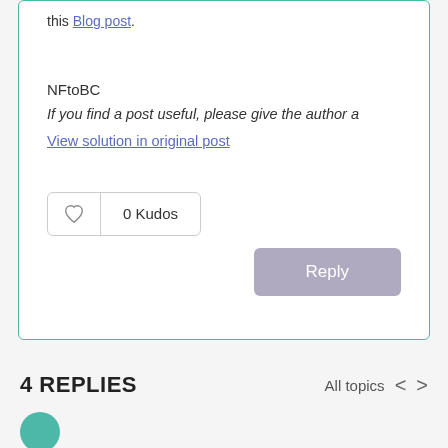this Blog post.
NFtoBC
If you find a post useful, please give the author a
View solution in original post
0 Kudos
Reply
4 REPLIES
All topics